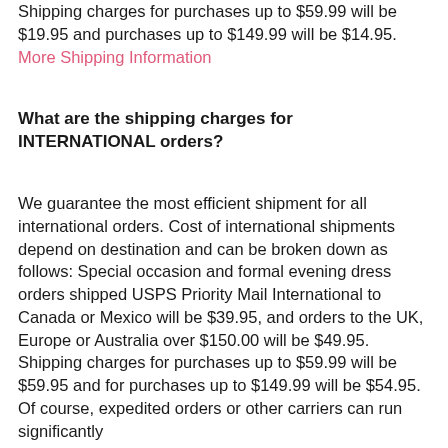Shipping charges for purchases up to $59.99 will be $19.95 and purchases up to $149.99 will be $14.95. More Shipping Information
What are the shipping charges for INTERNATIONAL orders?
We guarantee the most efficient shipment for all international orders. Cost of international shipments depend on destination and can be broken down as follows: Special occasion and formal evening dress orders shipped USPS Priority Mail International to Canada or Mexico will be $39.95, and orders to the UK, Europe or Australia over $150.00 will be $49.95. Shipping charges for purchases up to $59.99 will be $59.95 and for purchases up to $149.99 will be $54.95. Of course, expedited orders or other carriers can run significantly